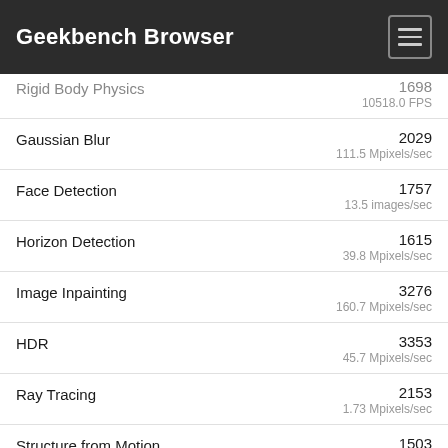Geekbench Browser
Rigid Body Physics
1698
10518.0 FPS
Gaussian Blur
2029
111.5 Mpixels/sec
Face Detection
1757
13.5 images/sec
Horizon Detection
1615
39.8 Mpixels/sec
Image Inpainting
3276
160.7 Mpixels/sec
HDR
3353
45.7 Mpixels/sec
Ray Tracing
2153
1.73 Mpixels/sec
Structure from Motion
1503
13.5 Kpixels/sec